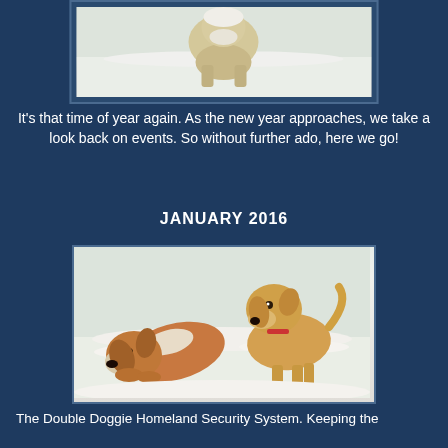[Figure (photo): Photo of a dog in snow, partially visible at the top of the page]
It's that time of year again. As the new year approaches, we take a look back on events. So without further ado, here we go!
JANUARY 2016
[Figure (photo): Two Cocker Spaniel dogs playing in the snow, one brown and white lying down, one golden standing]
The Double Doggie Homeland Security System. Keeping the